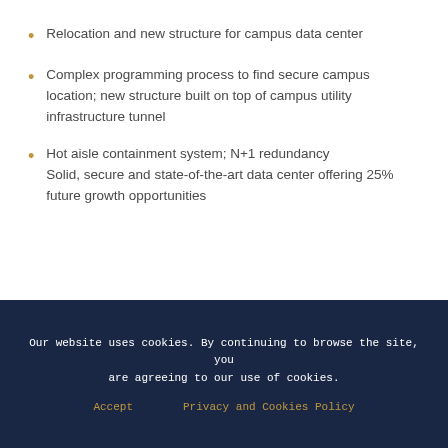Relocation and new structure for campus data center
Complex programming process to find secure campus location; new structure built on top of campus utility infrastructure tunnel
Hot aisle containment system; N+1 redundancy Solid, secure and state-of-the-art data center offering 25% future growth opportunities
Our website uses cookies. By continuing to browse the site, you are agreeing to our use of cookies. Accept Privacy and Cookies Policy